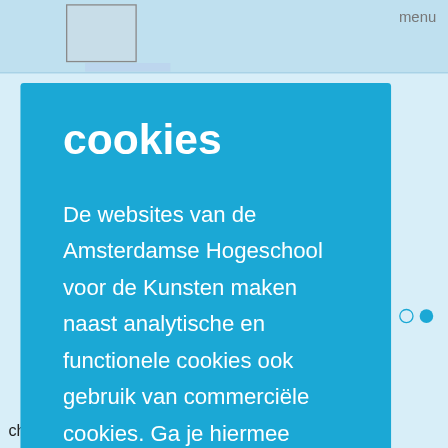menu
cookies
De websites van de Amsterdamse Hogeschool voor de Kunsten maken naast analytische en functionele cookies ook gebruik van commerciële cookies. Ga je hiermee akkoord? Wil je meer weten? Lees meer over onze cookies.
akkoord
liever niet
change to have a future at all and to protect